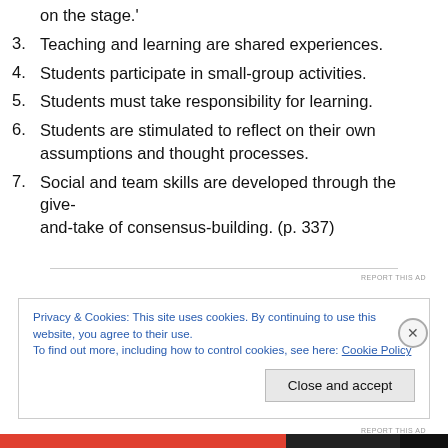on the stage.'
3. Teaching and learning are shared experiences.
4. Students participate in small-group activities.
5. Students must take responsibility for learning.
6. Students are stimulated to reflect on their own assumptions and thought processes.
7. Social and team skills are developed through the give-and-take of consensus-building. (p. 337)
Privacy & Cookies: This site uses cookies. By continuing to use this website, you agree to their use.
To find out more, including how to control cookies, see here: Cookie Policy
Close and accept